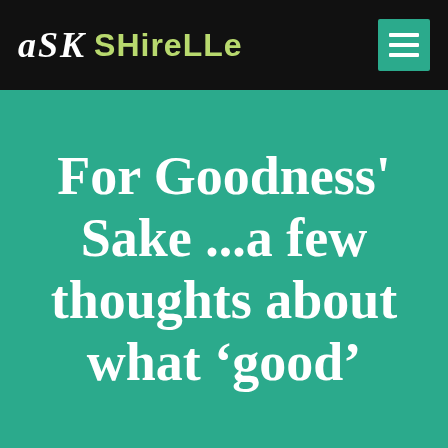aSK SHireLLe
For Goodness' Sake ...a few thoughts about what ‘good’